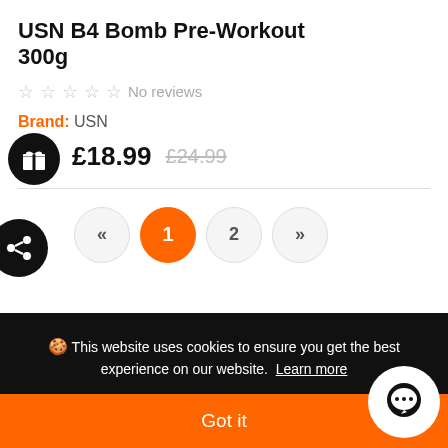USN B4 Bomb Pre-Workout 300g
No reviews
Brand: USN
£18.99  £24.99
[Figure (infographic): Pagination controls: left arrow (previous), page 1 (active, orange), page 2, right arrow (next)]
🍪 This website uses cookies to ensure you get the best experience on our website. Learn more
Got it